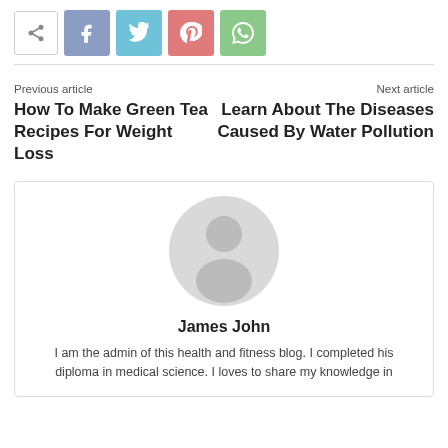[Figure (other): Social share bar with share icon, Facebook, Twitter, Pinterest, and WhatsApp buttons]
Previous article
How To Make Green Tea Recipes For Weight Loss
Next article
Learn About The Diseases Caused By Water Pollution
[Figure (illustration): Generic user avatar — grey circle with silhouette of a person]
James John
I am the admin of this health and fitness blog. I completed his diploma in medical science. I loves to share my knowledge in